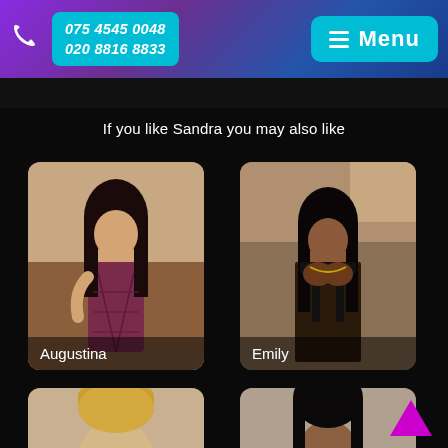075 4545 0048 020 8816 8833 | Menu
If you like Sandra you may also like
[Figure (photo): Photo of Augustina - woman in dark red lingerie with long black hair]
Augustina
[Figure (photo): Photo of Emily - woman in black lingerie with long dark wavy hair]
Emily
[Figure (photo): Partial photo - blonde woman, bottom cropped]
[Figure (photo): Partial photo - dark haired woman, bottom cropped]